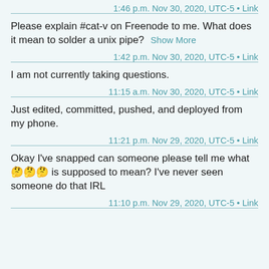1:46 p.m. Nov 30, 2020, UTC-5 • Link
Please explain #cat-v on Freenode to me. What does it mean to solder a unix pipe?  Show More
1:42 p.m. Nov 30, 2020, UTC-5 • Link
I am not currently taking questions.
11:15 a.m. Nov 30, 2020, UTC-5 • Link
Just edited, committed, pushed, and deployed from my phone.
11:21 p.m. Nov 29, 2020, UTC-5 • Link
Okay I've snapped can someone please tell me what 🤔🤔🤔 is supposed to mean? I've never seen someone do that IRL
11:10 p.m. Nov 29, 2020, UTC-5 • Link